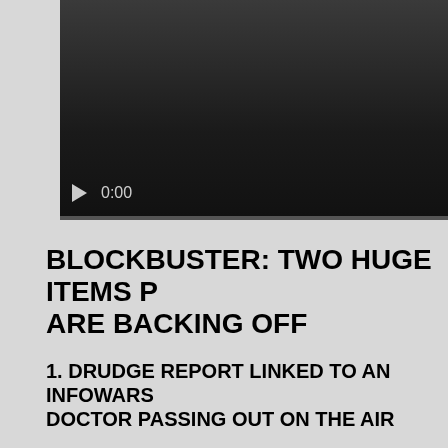[Figure (screenshot): Video player with dark background, play button, timestamp showing 0:00, and a progress bar at the bottom]
BLOCKBUSTER: TWO HUGE ITEMS P ARE BACKING OFF
1. DRUDGE REPORT LINKED TO AN INFOWARS DOCTOR PASSING OUT ON THE AIR
Right around the beginning of the Covid scam, Drudge went or hate Alex he's still banned everywhere - but Drudge would over Drudge because of how much things changed, and the or is this a game??